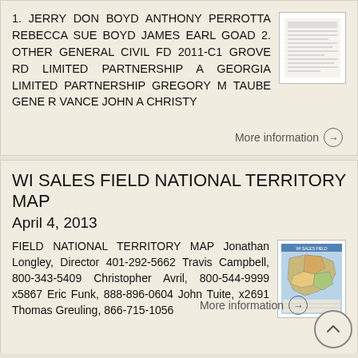1. JERRY DON BOYD ANTHONY PERROTTA REBECCA SUE BOYD JAMES EARL GOAD 2. OTHER GENERAL CIVIL FD 2011-C1 GROVE RD LIMITED PARTNERSHIP A GEORGIA LIMITED PARTNERSHIP GREGORY M TAUBE GENE R VANCE JOHN A CHRISTY
More information →
WI SALES FIELD NATIONAL TERRITORY MAP
April 4, 2013
FIELD NATIONAL TERRITORY MAP Jonathan Longley, Director 401-292-5662 Travis Campbell, 800-343-5409 Christopher Avril, 800-544-9999 x5867 Eric Funk, 888-896-0604 John Tuite, x2691 Thomas Greuling, 866-715-1056
More information →